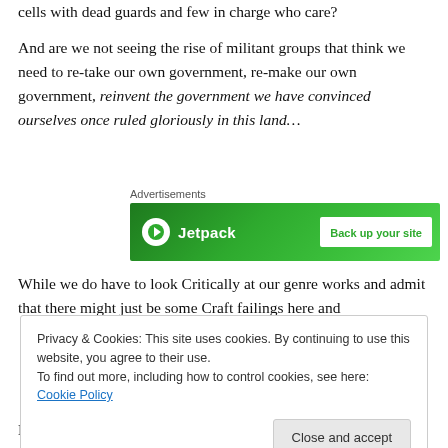cells with dead guards and few in charge who care?
And are we not seeing the rise of militant groups that think we need to re-take our own government, re-make our own government, reinvent the government we have convinced ourselves once ruled gloriously in this land…
[Figure (other): Jetpack advertisement banner — green background with Jetpack logo and text 'Back up your site']
While we do have to look Critically at our genre works and admit that there might just be some Craft failings here and
Privacy & Cookies: This site uses cookies. By continuing to use this website, you agree to their use.
To find out more, including how to control cookies, see here: Cookie Policy
But if we are going to attack contemporary writers for